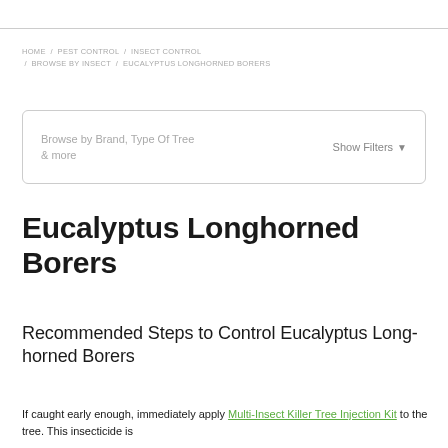HOME / PEST CONTROL / INSECT CONTROL / BROWSE BY INSECT / EUCALYPTUS LONGHORNED BORERS
Browse by Brand, Type Of Tree & more   Show Filters ▾
Eucalyptus Longhorned Borers
Recommended Steps to Control Eucalyptus Long-horned Borers
If caught early enough, immediately apply Multi-Insect Killer Tree Injection Kit to the tree. This insecticide is